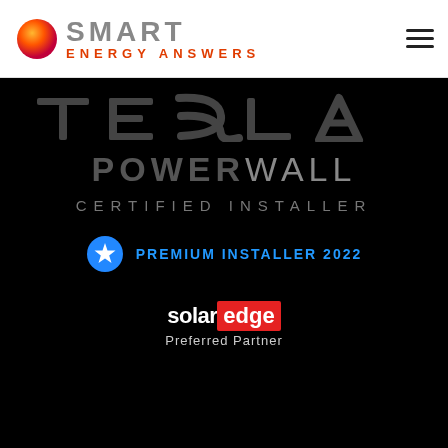[Figure (logo): Smart Energy Answers logo with orange/red gradient circle and SMART text in grey, ENERGY ANSWERS in red/orange below]
[Figure (logo): Tesla Powerwall Certified Installer badge on black background with POWERWALL in large letters and CERTIFIED INSTALLER below]
PREMIUM INSTALLER 2022
[Figure (logo): SolarEdge Preferred Partner logo with solar in white and edge in red box]